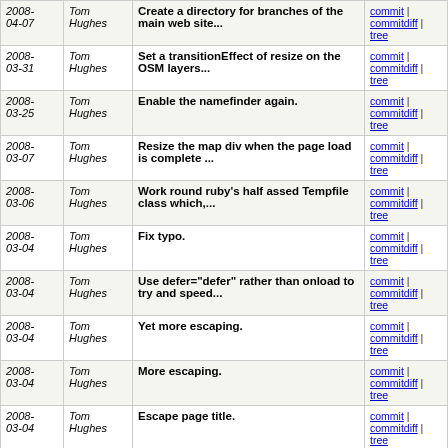| Date | Author | Message | Links |
| --- | --- | --- | --- |
| 2008-04-07 | Tom Hughes | Create a directory for branches of the main web site... | commit | commitdiff | tree |
| 2008-03-31 | Tom Hughes | Set a transitionEffect of resize on the OSM layers... | commit | commitdiff | tree |
| 2008-03-25 | Tom Hughes | Enable the namefinder again. | commit | commitdiff | tree |
| 2008-03-07 | Tom Hughes | Resize the map div when the page load is complete ... | commit | commitdiff | tree |
| 2008-03-06 | Tom Hughes | Work round ruby's half assed Tempfile class which,... | commit | commitdiff | tree |
| 2008-03-04 | Tom Hughes | Fix typo. | commit | commitdiff | tree |
| 2008-03-04 | Tom Hughes | Use defer="defer" rather than onload to try and speed... | commit | commitdiff | tree |
| 2008-03-04 | Tom Hughes | Yet more escaping. | commit | commitdiff | tree |
| 2008-03-04 | Tom Hughes | More escaping. | commit | commitdiff | tree |
| 2008-03-04 | Tom Hughes | Escape page title. | commit | commitdiff | tree |
| 2008-03-04 | Tom Hughes | More display name escaping. | commit | commitdiff | tree |
| 2008-03-04 | Tom Hughes | Escape user display names. | commit | commitdiff | tree |
| 2008-03-04 | Tom Hughes | Escape user names in diary views. | commit | commitdiff | tree |